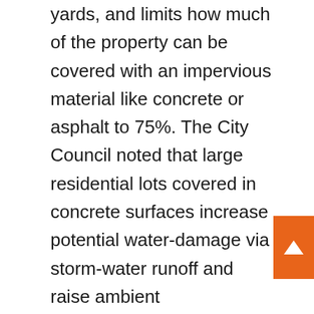yards, and limits how much of the property can be covered with an impervious material like concrete or asphalt to 75%. The City Council noted that large residential lots covered in concrete surfaces increase potential water-damage via storm-water runoff and raise ambient temperatures.Additional development standards included a maximum height restriction of 15 feet, and mandates that structures exceeding the height requirement must be set further back from all property line boundaries. The Bill maintained existing limits on the number of bathrooms, laundry rooms, and wet bars permitted in a home using a sliding scale based on square footage, as well requiring sufficient